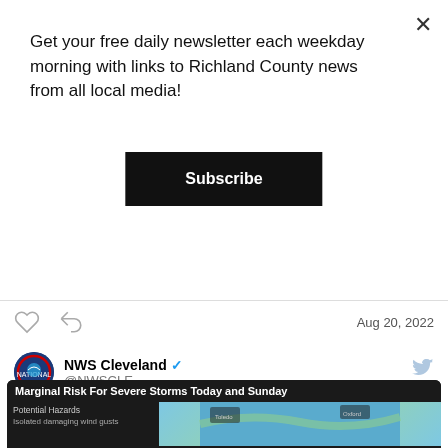Get your free daily newsletter each weekday morning with links to Richland County news from all local media!
Subscribe
[Figure (other): Blue banner with white text reading 'Donations will be accepted :)']
Aug 20, 2022
NWS Cleveland @NWSCLE
Scattered showers & thunderstorms will develop this afternoon. There is a marginal risk for severe thunderstorms. The main threat is isolated damaging winds, small hail, and locally heavy rainfall. Warmer, more humid conditions are expected with highs in the mid 80s. #ohwx #pawx
[Figure (screenshot): Weather graphic titled 'Marginal Risk For Severe Storms Today and Sunday' showing a map with potential hazards including isolated damaging wind gusts]